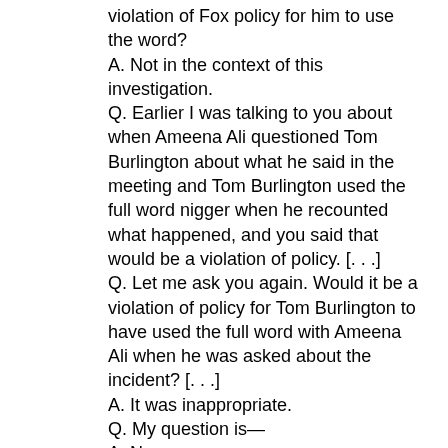violation of Fox policy for him to use the word? A. Not in the context of this investigation. Q. Earlier I was talking to you about when Ameena Ali questioned Tom Burlington about what he said in the meeting and Tom Burlington used the full word nigger when he recounted what happened, and you said that would be a violation of policy. [. . .] Q. Let me ask you again. Would it be a violation of policy for Tom Burlington to have used the full word with Ameena Ali when he was asked about the incident? [. . .] A. It was inappropriate. Q. My question is— A. No. Q. Okay. A. Well, wait a second. Let me take that back. The fact is that any time